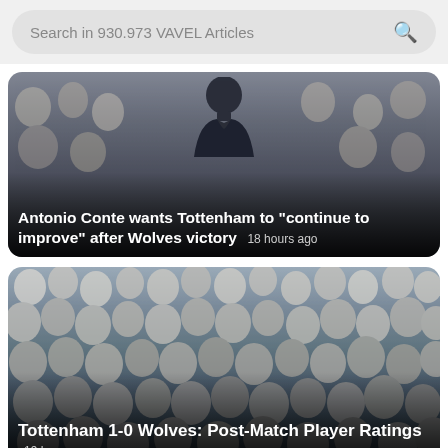Search in 930.973 VAVEL Articles
[Figure (photo): A man in a dark polo shirt stands in front of a crowded stadium stand. Article card with headline overlay.]
Antonio Conte wants Tottenham to "continue to improve" after Wolves victory  18 hours ago
[Figure (photo): A large crowd of Tottenham supporters celebrating in the stands. Article card with headline overlay.]
Tottenham 1-0 Wolves: Post-Match Player Ratings  19 hours ago